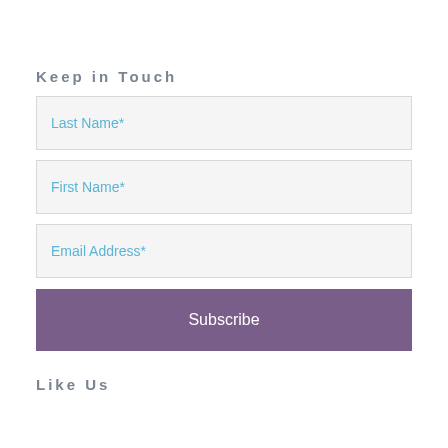Keep in Touch
Last Name*
First Name*
Email Address*
Subscribe
Like Us